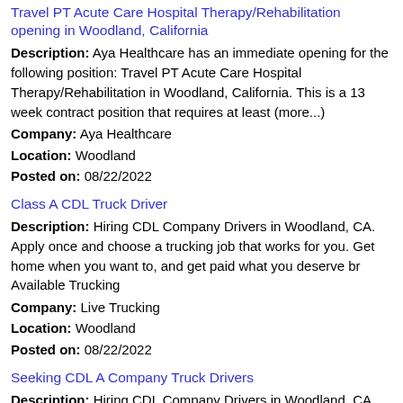Travel PT Acute Care Hospital Therapy/Rehabilitation opening in Woodland, California
Description: Aya Healthcare has an immediate opening for the following position: Travel PT Acute Care Hospital Therapy/Rehabilitation in Woodland, California. This is a 13 week contract position that requires at least (more...)
Company: Aya Healthcare
Location: Woodland
Posted on: 08/22/2022
Class A CDL Truck Driver
Description: Hiring CDL Company Drivers in Woodland, CA. Apply once and choose a trucking job that works for you. Get home when you want to, and get paid what you deserve br Available Trucking
Company: Live Trucking
Location: Woodland
Posted on: 08/22/2022
Seeking CDL A Company Truck Drivers
Description: Hiring CDL Company Drivers in Woodland, CA. Apply once and choose a trucking job that works for you. Get home when you want to, and get paid what you deserve br Available Trucking